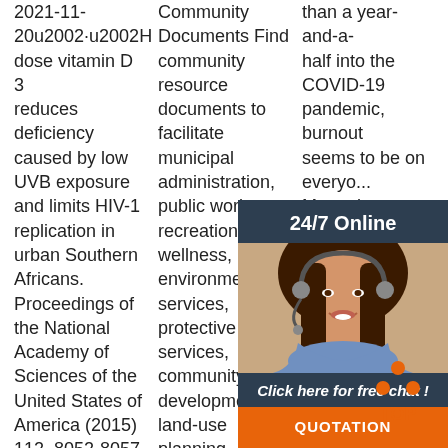2021-11-20u2002·u2002High dose vitamin D 3 reduces deficiency caused by low UVB exposure and limits HIV-1 replication in urban Southern Africans. Proceedings of the National Academy of Sciences of the United States of America (2015) 112, 8052-8057
Get Price
Community Documents Find community resource documents to facilitate municipal administration, public works, recreation and wellness, environmental services, protective services, community development, land-use planning, community planning, and …
Get Price
than a year-and-a-half into the COVID-19 pandemic, burnout seems to be on everyo... Many d... realise... hit us w... scramb... adjust... sudden... of the w... switchi... remote... little or no preparation, or deemed an essential worker and asked to continue business-as-usual
[Figure (photo): Customer service representative with headset, smiling. Overlay panel with 24/7 Online header, chat button, and QUOTATION button in orange.]
[Figure (logo): TOP logo with orange dots arranged in triangle above the word TOP]